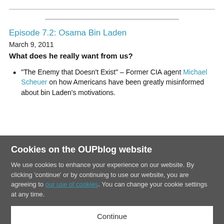Episode 7.2: Osama Bin Laden
March 9, 2011
What does he really want from us?
“The Enemy that Doesn’t Exist” – Former CIA agent Michael Scheuer on how Americans have been greatly misinformed about bin Laden’s motivations.
Cookies on the OUPblog website
We use cookies to enhance your experience on our website. By clicking ‘continue’ or by continuing to use our website, you are agreeing to our use of cookies. You can change your cookie settings at any time.
Continue